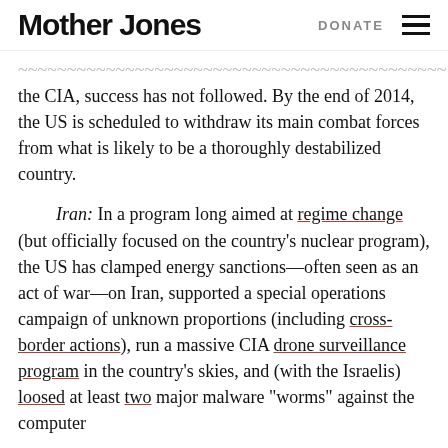Mother Jones   DONATE
the CIA, success has not followed. By the end of 2014, the US is scheduled to withdraw its main combat forces from what is likely to be a thoroughly destabilized country.
Iran: In a program long aimed at regime change (but officially focused on the country's nuclear program), the US has clamped energy sanctions—often seen as an act of war—on Iran, supported a special operations campaign of unknown proportions (including cross-border actions), run a massive CIA drone surveillance program in the country's skies, and (with the Israelis) loosed at least two major malware “worms” against the computer